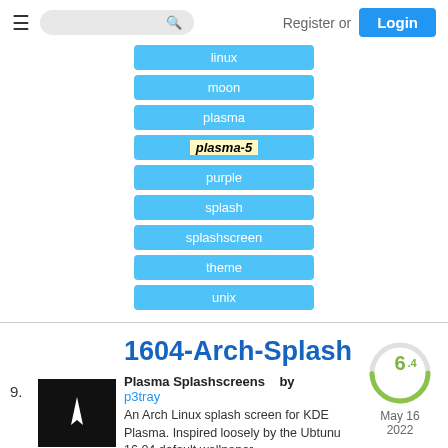Register or Login
linux
moon
plasma
plasma-5
purple
splash
splashscreen
theme
unix
1604-Arch-Splash
Plasma Splashscreens    by p3tray
An Arch Linux splash screen for KDE Plasma. Inspired loosely by the Ubtunu 16.04 default wallpaper.
1604
[Figure (other): Score circle showing 6.4 rating with green arc, dated May 16 2022]
[Figure (photo): Black thumbnail image with white Arch Linux logo]